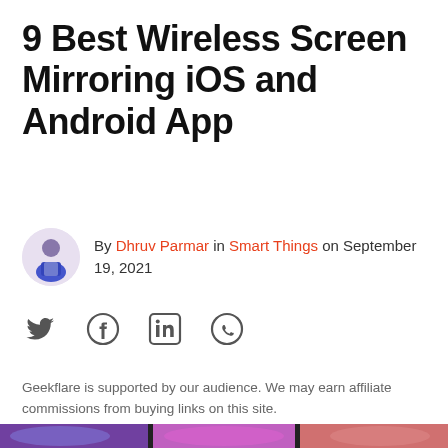9 Best Wireless Screen Mirroring iOS and Android App
By Dhruv Parmar in Smart Things on September 19, 2021
[Figure (infographic): Social sharing icons: Twitter, Facebook, LinkedIn, WhatsApp]
Geekflare is supported by our audience. We may earn affiliate commissions from buying links on this site.
[Figure (photo): Three monitors displaying colorful wallpapers in purple, pink, and blue tones]